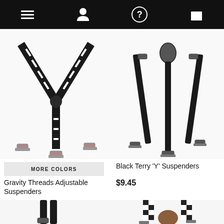Navigation bar with menu, user, help, and cart icons
[Figure (photo): Black and white striped Y-back adjustable suspenders on white background]
MORE COLORS
Gravity Threads Adjustable Suspenders
$8.68
[Figure (photo): Black Terry Y-back suspenders with metal clips on white background]
Black Terry 'Y' Suspenders
$9.45
[Figure (photo): Partial view of plain black suspenders at bottom left]
[Figure (photo): Partial view of black and white checkered Y-back suspenders with brown leather patch at bottom right]